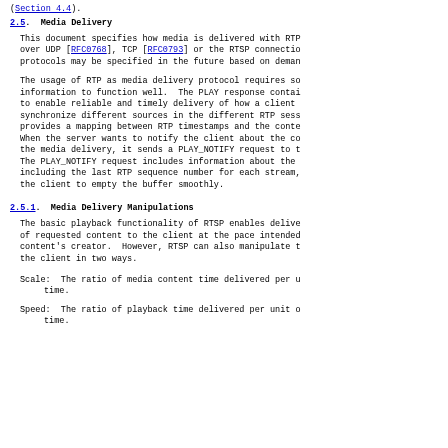(Section 4.4).
2.5.  Media Delivery
This document specifies how media is delivered with RTP over UDP [RFC0768], TCP [RFC0793] or the RTSP connection. Other protocols may be specified in the future based on demand.
The usage of RTP as media delivery protocol requires some information to function well.  The PLAY response contains information to enable reliable and timely delivery of how a client can synchronize different sources in the different RTP sessions and provides a mapping between RTP timestamps and the content time. When the server wants to notify the client about the completion of the media delivery, it sends a PLAY_NOTIFY request to the client. The PLAY_NOTIFY request includes information about the delivery including the last RTP sequence number for each stream, to enable the client to empty the buffer smoothly.
2.5.1.  Media Delivery Manipulations
The basic playback functionality of RTSP enables delivery of requested content to the client at the pace intended by the content's creator.  However, RTSP can also manipulate the delivery to the client in two ways.
Scale:  The ratio of media content time delivered per unit time.
Speed:  The ratio of playback time delivered per unit of time.